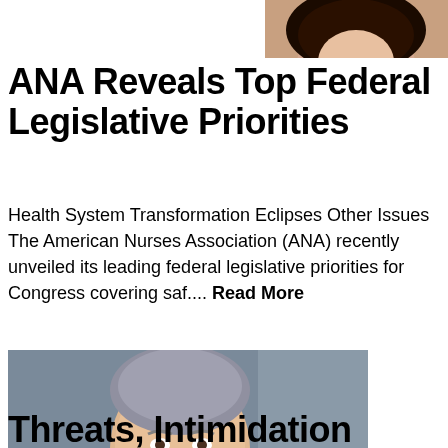[Figure (photo): Partial photo of a woman at the top of the page, cropped showing head and shoulders]
ANA Reveals Top Federal Legislative Priorities
Health System Transformation Eclipses Other Issues The American Nurses Association (ANA) recently unveiled its leading federal legislative priorities for Congress covering saf.... Read More
[Figure (photo): Portrait photo of an older man with grey hair wearing a dark suit and striped tie, smiling]
Threats, Intimidation Against